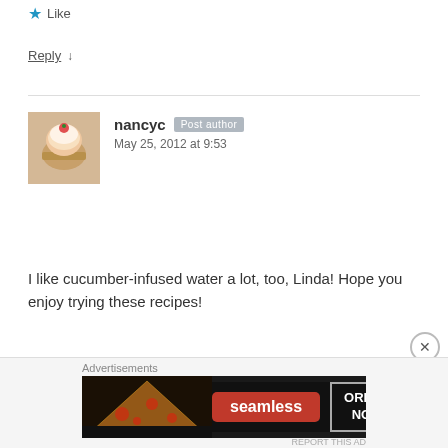★ Like
Reply ↓
nancyc  Post author
May 25, 2012 at 9:53
I like cucumber-infused water a lot, too, Linda! Hope you enjoy trying these recipes!
★ Like
Reply ↓
[Figure (other): Seamless pizza advertisement banner with 'seamless' red badge and 'ORDER NOW' button]
Advertisements